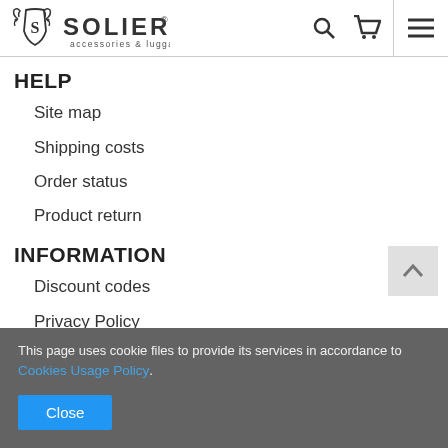[Figure (logo): Solier accessories & luggage logo with decorative shield emblem]
HELP
Site map
Shipping costs
Order status
Product return
INFORMATION
Discount codes
Privacy Policy
Product warranty
This page uses cookie files to provide its services in accordance to Cookies Usage Policy.
Close